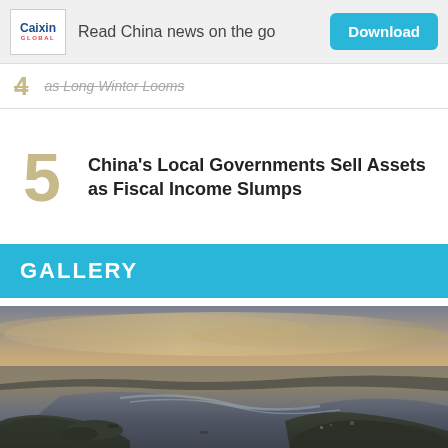Caixin Global — Read China news on the go — Download
4 as Long Winter Looms
5 China's Local Governments Sell Assets as Fiscal Income Slumps
GALLERY
[Figure (photo): Aerial photograph of a river delta or coastal waterway with islands and settlements, taken at dusk or dawn with warm golden-grey sky and calm water reflections.]